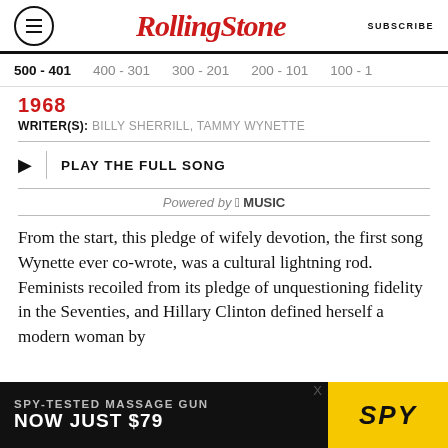Rolling Stone | SUBSCRIBE
500 - 401  400 - 301  300 - 201  200 - 101  100 - 1
1968
WRITER(S): BILLY SHERRILL, TAMMY WYNETTE
PLAY THE FULL SONG
Powered by Apple Music
From the start, this pledge of wifely devotion, the first song Wynette ever co-wrote, was a cultural lightning rod. Feminists recoiled from its pledge of unquestioning fidelity in the Seventies, and Hillary Clinton defined herself a modern woman by
[Figure (infographic): SPY-Tested Massage Gun advertisement: 'SPY-TESTED MASSAGE GUN NOW JUST $79' on dark background with SPY logo in yellow.]